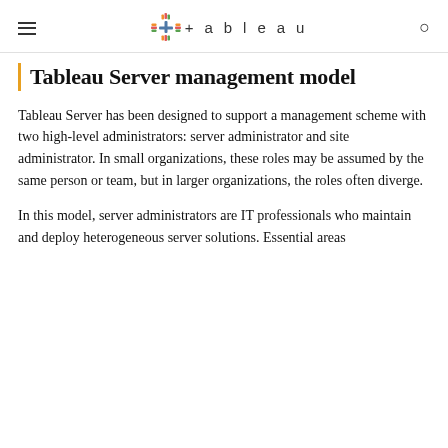Tableau (hamburger menu, logo, search)
Tableau Server management model
Tableau Server has been designed to support a management scheme with two high-level administrators: server administrator and site administrator. In small organizations, these roles may be assumed by the same person or team, but in larger organizations, the roles often diverge.
In this model, server administrators are IT professionals who maintain and deploy heterogeneous server solutions. Essential areas